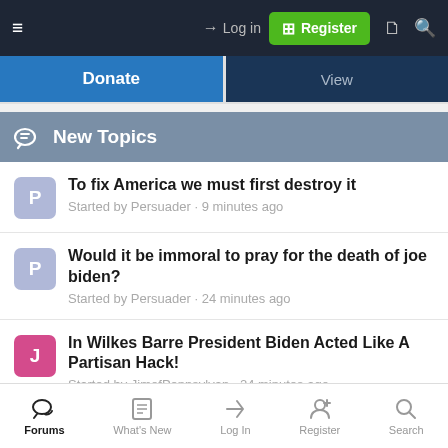Log in | Register
Donate | View
New Topics
To fix America we must first destroy it — Started by Persuader · 9 minutes ago
Would it be immoral to pray for the death of joe biden? — Started by Persuader · 24 minutes ago
In Wilkes Barre President Biden Acted Like A Partisan Hack! — Started by JimofPennsylvan · 24 minutes ago
not a big believer in polls
Forums | What's New | Log In | Register | Search